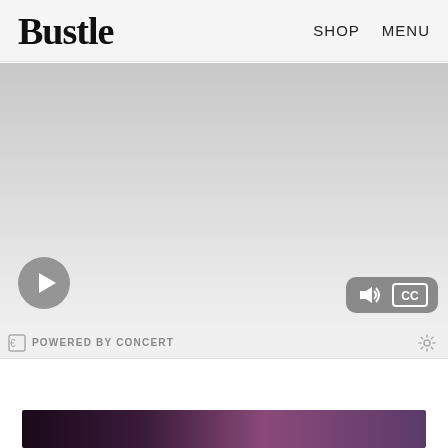Bustle  SHOP  MENU
[Figure (screenshot): Video player with gradient gray background, play button (circle with triangle) at bottom left, audio/CC controls at bottom right]
POWERED BY CONCERT
[Figure (photo): Partial dark-toned photo visible at bottom of page]